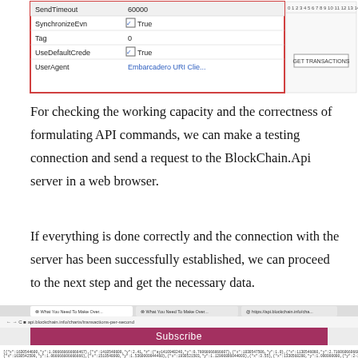[Figure (screenshot): Screenshot of a REST API client configuration panel showing properties like SendTimeout (60000), SynchronizeEvn (True), Tag (0), UseDefaultCrede (True), UserAgent (Embarcadero URI Clie...), alongside a GET TRANSACTIONS interface with numbered tabs 0 through 22+]
For checking the working capacity and the correctness of formulating API commands, we can make a testing connection and send a request to the BlockChain.Api server in a web browser.
If everything is done correctly and the connection with the server has been successfully established, we can proceed to the next step and get the necessary data.
[Figure (screenshot): Screenshot of a web browser showing a URL bar with api.blockchain.info/charts/transactions-per-second and two browser tabs open, with a Subscribe banner and JSON data output visible]